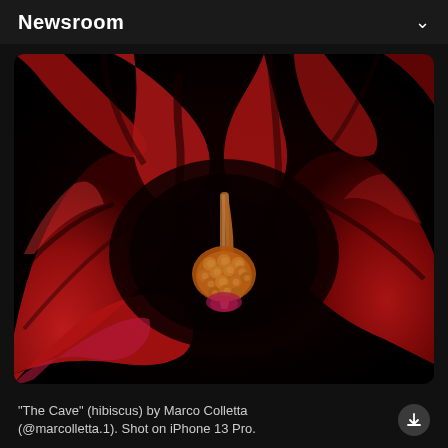Newsroom
[Figure (photo): Close-up macro photograph of a deep red hibiscus flower ('The Cave') showing the stamen and pistil with yellow pollen clusters in the center, surrounded by dramatic red petals with dark veining, on a dark background.]
“The Cave” (hibiscus) by Marco Colletta (@marcolletta.1). Shot on iPhone 13 Pro.